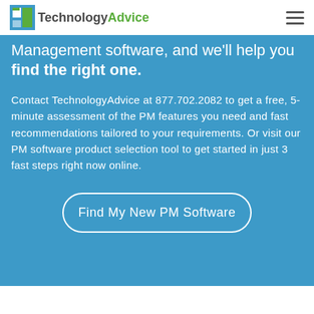TechnologyAdvice
Management software, and we'll help you find the right one.
Contact TechnologyAdvice at 877.702.2082 to get a free, 5-minute assessment of the PM features you need and fast recommendations tailored to your requirements. Or visit our PM software product selection tool to get started in just 3 fast steps right now online.
Find My New PM Software